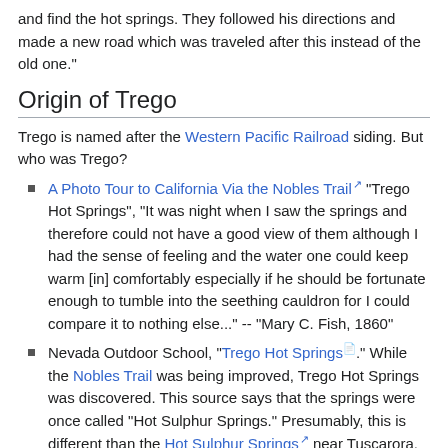and find the hot springs. They followed his directions and made a new road which was traveled after this instead of the old one."
Origin of Trego
Trego is named after the Western Pacific Railroad siding. But who was Trego?
A Photo Tour to California Via the Nobles Trail [ext] "Trego Hot Springs", "It was night when I saw the springs and therefore could not have a good view of them although I had the sense of feeling and the water one could keep warm [in] comfortably especially if he should be fortunate enough to tumble into the seething cauldron for I could compare it to nothing else..." -- "Mary C. Fish, 1860"
Nevada Outdoor School, "Trego Hot Springs [doc]." While the Nobles Trail was being improved, Trego Hot Springs was discovered. This source says that the springs were once called "Hot Sulphur Springs." Presumably, this is different than the Hot Sulphur Springs [ext] near Tuscarora.
Devere Helfrich, "Emigrant Trails West: A Guide to Trail Markers Placed by Trails West, Inc. Along the California, Applegate, Lassen, and Nobles' Emigrant Trails in Idaho, Nevada, and California [ext]," Arrival at "Hot Sulphur Springs." Description of Trego marker. Description of Frederick W. Lander's improvements.